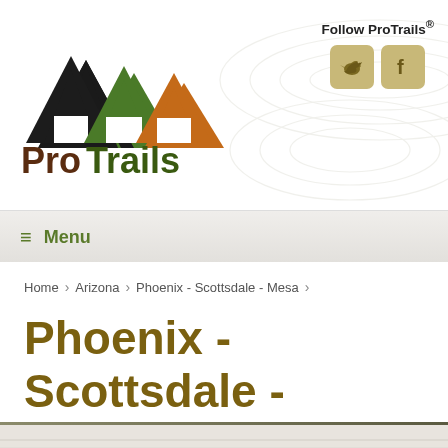[Figure (logo): ProTrails logo with mountain peaks in black, dark green, and orange/brown above text 'ProTrails' in dark brown]
Follow ProTrails®
[Figure (illustration): Twitter bird icon in a tan/gold rounded square button]
[Figure (illustration): Facebook 'f' icon in a tan/gold rounded square button]
≡ Menu
Home > Arizona > Phoenix - Scottsdale - Mesa >
Phoenix - Scottsdale - Mesa
[Figure (map): Partial map view with light beige/tan background showing street or trail map data, cut off at bottom of page]